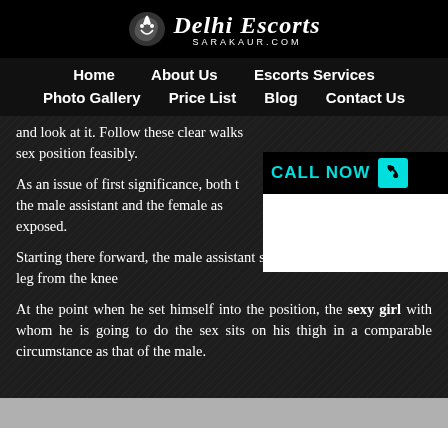Delhi Escorts SARAKAUR.COM
Home   About Us   Escorts Services   Photo Gallery   Price List   Blog   Contact Us
and look at it. Follow these clear walks sex position feasibly.
As an issue of first significance, both the male assistant and the female as exposed.
Starting there forward, the male assistant sits on his sole by bowing his leg from the knee
At the point when he set himself into the position, the sexy girl with whom he is going to do the sex sits on his thigh in a comparable circumstance as that of the male.